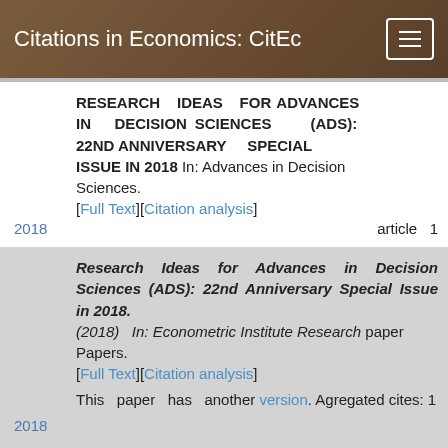Citations in Economics: CitEc
RESEARCH IDEAS FOR ADVANCES IN DECISION SCIENCES (ADS): 22ND ANNIVERSARY SPECIAL ISSUE IN 2018 In: Advances in Decision Sciences. [Full Text][Citation analysis] article 1 2018
Research Ideas for Advances in Decision Sciences (ADS): 22nd Anniversary Special Issue in 2018.(2018) In: Econometric Institute Research Papers. [Full Text][Citation analysis] This paper has another version. Agregated cites: 1 paper 2018
DECISION SCIENCES, ECONOMICS, FINANCE, BUSINESS, COMPUTING,...